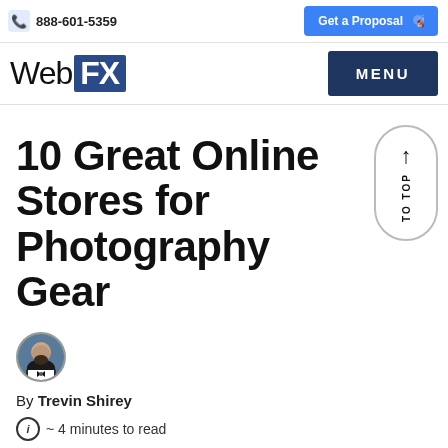888-601-5359 | Get a Proposal
[Figure (logo): WebFX logo with blue FX box]
10 Great Online Stores for Photography Gear
By Trevin Shirey
~ 4 minutes to read